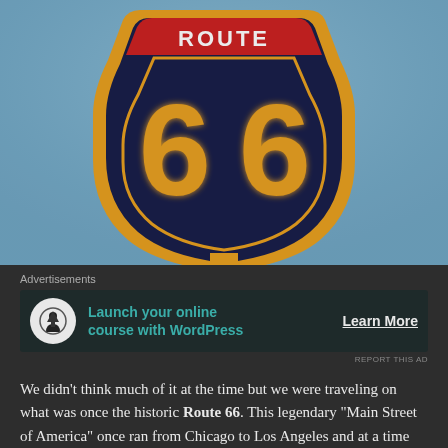[Figure (photo): Close-up photo of a Route 66 road sign with dark navy/black shield shape, large yellow '66' numbers with orange neon glow effect, red top banner with 'ROUTE' text, yellow border, against a blue sky background.]
Advertisements
[Figure (infographic): Advertisement banner: circular icon with tree/person silhouette on white background, green text 'Launch your online course with WordPress', white 'Learn More' button with underline.]
REPORT THIS AD
We didn't think much of it at the time but we were traveling on what was once the historic Route 66. This legendary "Main Street of America" once ran from Chicago to Los Angeles and at a time when road trips were at the height of their popularity. Before it was segmented and officially removed from the US Highway system in 1985, it would inspire songs